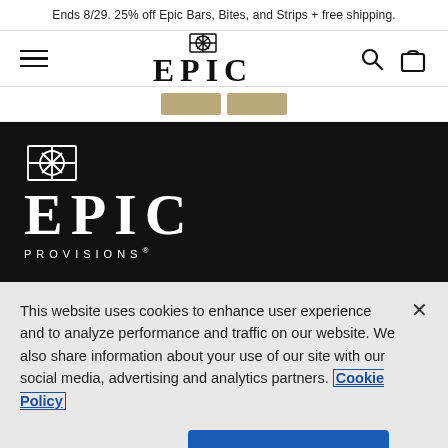Ends 8/29. 25% off Epic Bars, Bites, and Strips + free shipping.
[Figure (logo): EPIC Provisions logo with decorative icon, hamburger menu, search and cart icons in navigation header]
[Figure (screenshot): Two tan/gold colored tab buttons below navigation]
[Figure (logo): EPIC PROVISIONS logo in white on dark/black background in footer section]
This website uses cookies to enhance user experience and to analyze performance and traffic on our website. We also share information about your use of our site with our social media, advertising and analytics partners. Cookie Policy
Customize Settings
Accept All Cookies